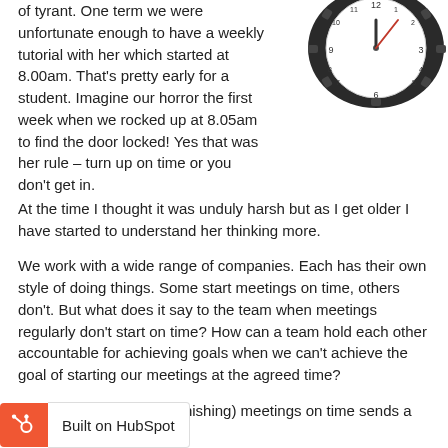of tyrant. One term we were unfortunate enough to have a weekly tutorial with her which started at 8.00am. That's pretty early for a student. Imagine our horror the first week when we rocked up at 8.05am to find the door locked! Yes that was her rule – turn up on time or you don't get in.
[Figure (photo): A clock face surrounded by office chairs arranged in a circle, representing a meeting room viewed from above]
At the time I thought it was unduly harsh but as I get older I have started to understand her thinking more.
We work with a wide range of companies. Each has their own style of doing things. Some start meetings on time, others don't. But what does it say to the team when meetings regularly don't start on time? How can a team hold each other accountable for achieving goals when we can't achieve the goal of starting our meetings at the agreed time?
The act of starting (and finishing) meetings on time sends a message to the team.
It says – we value your time
important
It says – everyone is busy so let's be efficient